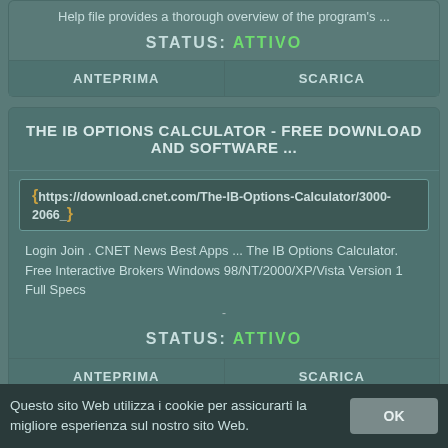Help file provides a thorough overview of the program's ...
STATUS: ATTIVO
ANTEPRIMA
SCARICA
THE IB OPTIONS CALCULATOR - FREE DOWNLOAD AND SOFTWARE ...
https://download.cnet.com/The-IB-Options-Calculator/3000-2066_
Login Join . CNET News Best Apps ... The IB Options Calculator. Free Interactive Brokers Windows 98/NT/2000/XP/Vista Version 1 Full Specs
-
STATUS: ATTIVO
ANTEPRIMA
SCARICA
Questo sito Web utilizza i cookie per assicurarti la migliore esperienza sul nostro sito Web.
OK